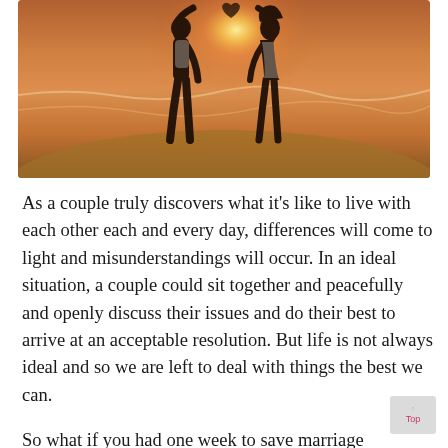[Figure (photo): A couple standing on a beach at sunset, facing each other and forming a heart shape with their arms raised above their heads. The sky and ocean are lit with warm orange and golden tones from the setting sun behind them.]
As a couple truly discovers what it's like to live with each other each and every day, differences will come to light and misunderstandings will occur. In an ideal situation, a couple could sit together and peacefully and openly discuss their issues and do their best to arrive at an acceptable resolution. But life is not always ideal and so we are left to deal with things the best we can.
So what if you had one week to save marriage relationship that took years to develop? Do you think you could do it? Here are